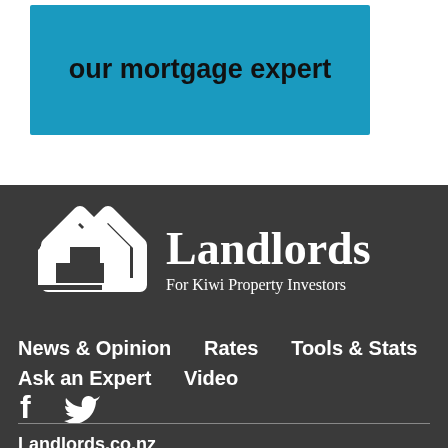[Figure (other): Blue banner with bold text 'our mortgage expert' on a cyan/blue background]
[Figure (logo): Landlords.co.nz logo: two white house silhouettes and text 'Landlords / For Kiwi Property Investors' on dark grey background]
News & Opinion   Rates   Tools & Stats   Ask an Expert   Video
[Figure (other): Facebook and Twitter social media icons in white on dark grey background]
Landlords.co.nz
Contact us
Terms & Conditions